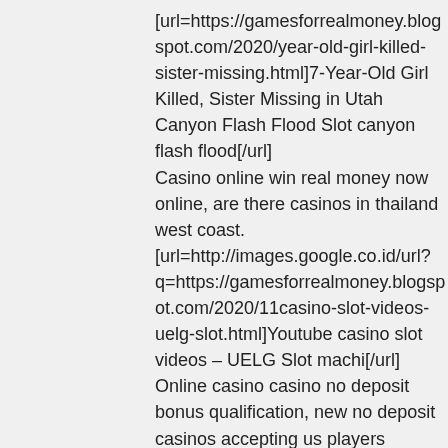[url=https://gamesforrealmoney.blogspot.com/2020/year-old-girl-killed-sister-missing.html]7-Year-Old Girl Killed, Sister Missing in Utah Canyon Flash Flood Slot canyon flash flood[/url]
Casino online win real money now online, are there casinos in thailand west coast.
[url=http://images.google.co.id/url?q=https://gamesforrealmoney.blogspot.com/2020/11casino-slot-videos-uelg-slot.html]Youtube casino slot videos – UELG Slot machi[/url]
Online casino casino no deposit bonus qualification, new no deposit casinos accepting us players printable.
[url=https://gamesforrealmoney.blogspot.com/2021/electric-dreams-slot-cars-los.html ]slots empire bonus codes 2019 [/url]